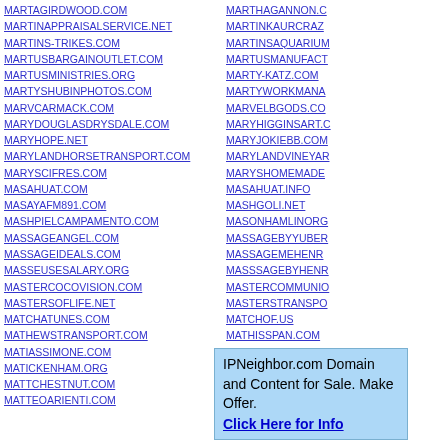MARTAGIRDWOOD.COM
MARTINAPPRAISALSERVICE.NET
MARTINS-TRIKES.COM
MARTUSBARGAINOUTLET.COM
MARTUSMINISTRIES.ORG
MARTYSHUBINPHOTOS.COM
MARVCARMACK.COM
MARYDOUGLASDRYSDALE.COM
MARYHOPE.NET
MARYLANDHORSETRANSPORT.COM
MARYSCIFRES.COM
MASAHUAT.COM
MASAYAFM891.COM
MASHPIELCAMPAMENTO.COM
MASSAGEANGEL.COM
MASSAGEIDEALS.COM
MASSEUSESALARY.ORG
MASTERCOCOVISION.COM
MASTERSOFLIFE.NET
MATCHATUNES.COM
MATHEWSTRANSPORT.COM
MATIASSIMONE.COM
MATICKENHAM.ORG
MATTCHESTNUT.COM
MATTEOARIENTI.COM
MATTHEW-CARSON.COM
MATTHEWMOSTELLER.COM
MATTHEWWARE.COM
MARTHAGANNON.C…
MARTINKAURCRAZ…
MARTINSAQUARIUM…
MARTUSMANUFACT…
MARTY-KATZ.COM
MARTYWORKMANA…
MARVELBGODS.CO…
MARYHIGGINSART.C…
MARYJOKIEBB.COM…
MARYLANDVINEYAR…
MARYSHOMEMADE…
MASAHUAT.INFO
MASHGOLI.NET
MASONHAMLINORG…
MASSAGEBYYUBER…
MASSAGEMEHENR…
MASSSAGEBYHENR…
MASTERCOMMUNIO…
MASTERSTRANSPO…
MATCHOF.US
MATHISSPAN.COM
MATIASSIMONE.INF…
MATRIXASSOCIATE…
IPNeighbor.com Domain and Content for Sale. Make Offer. Click Here for Info